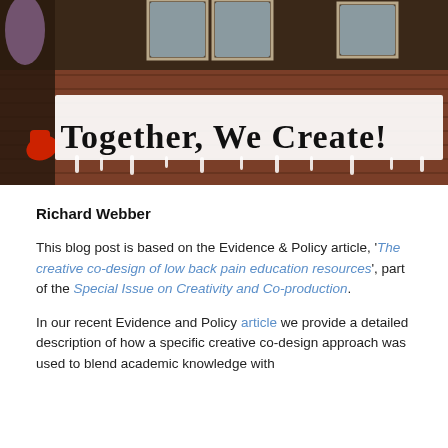[Figure (photo): Photo of a brick wall mural with graffiti-style text reading 'Together, We Create!' in gothic lettering with white dripping paint effect. A figure with a red gloved hand is visible on the left side.]
Richard Webber
This blog post is based on the Evidence & Policy article, 'The creative co-design of low back pain education resources', part of the Special Issue on Creativity and Co-production.
In our recent Evidence and Policy article we provide a detailed description of how a specific creative co-design approach was used to blend academic knowledge with